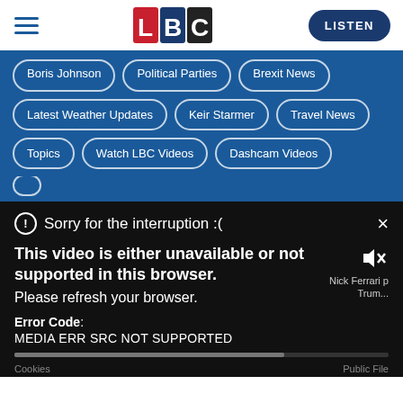[Figure (screenshot): LBC website screenshot showing navigation bar with LBC logo, hamburger menu, and LISTEN button, followed by topic pill buttons on blue background, and a video error overlay at the bottom showing 'Sorry for the interruption :(' with error message 'This video is either unavailable or not supported in this browser. Please refresh your browser.' and Error Code: MEDIA ERR SRC NOT SUPPORTED]
Boris Johnson | Political Parties | Brexit News
Latest Weather Updates | Keir Starmer | Travel News
Topics | Watch LBC Videos | Dashcam Videos
Sorry for the interruption :(
This video is either unavailable or not supported in this browser. Please refresh your browser.
Error Code: MEDIA ERR SRC NOT SUPPORTED